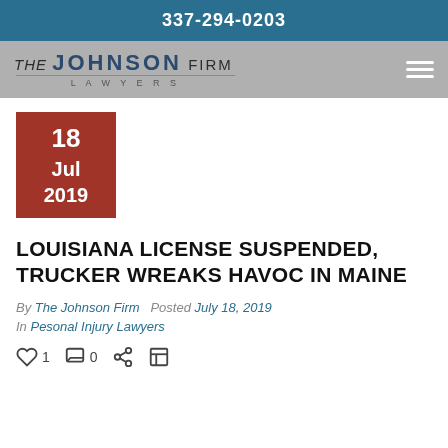337-294-0203
[Figure (logo): The Johnson Firm Lawyers logo on grey bar with hamburger menu icon]
18 Jul 2019
LOUISIANA LICENSE SUSPENDED, TRUCKER WREAKS HAVOC IN MAINE
By The Johnson Firm  Posted July 18, 2019
In Pesonal Injury Lawyers
♥ 1  □ 0  < ⊟